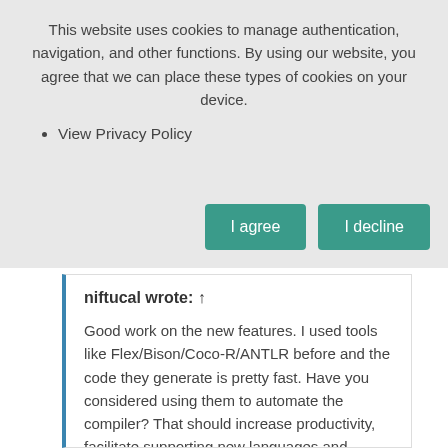This website uses cookies to manage authentication, navigation, and other functions. By using our website, you agree that we can place these types of cookies on your device.
View Privacy Policy
I agree
I decline
niftucal wrote: ↑
Good work on the new features. I used tools like Flex/Bison/Coco-R/ANTLR before and the code they generate is pretty fast. Have you considered using them to automate the compiler? That should increase productivity, facilitate supporting new languages and improve